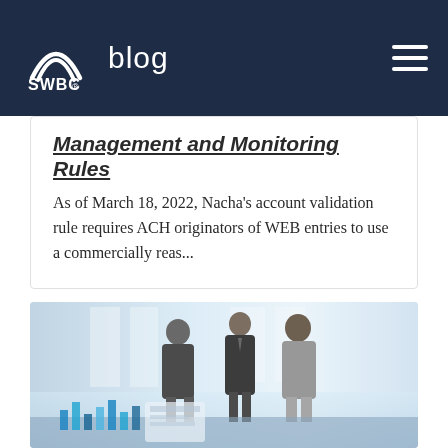SWBC blog
Management and Monitoring Rules
As of March 18, 2022, Nacha's account validation rule requires ACH originators of WEB entries to use a commercially reas...
[Figure (photo): Three business professionals standing and conversing in a bright office environment, with charts and a tablet visible in the foreground.]